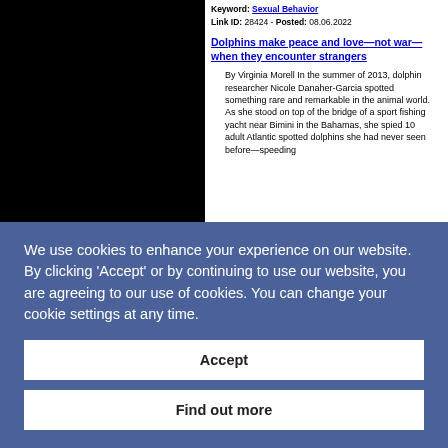[Figure (photo): Black rectangular image placeholder on the left side of the page]
Keyword: Sexual Behavior
Link ID: 28424 - Posted: 08.06.2022
Dolphins make peace and love—not war—when they encounter strangers
By Virginia Morell In the summer of 2013, dolphin researcher Nicole Danaher-Garcia spotted something rare and remarkable in the animal world. As she stood on top of the bridge of a sport fishing yacht near Bimini in the Bahamas, she spied 10 adult Atlantic spotted dolphins she had never seen before—speeding
We use cookies to enhance your experience on our website. By clicking 'Accept' or by continuing to use our website, you are agreeing to our use of cookies. You can change your cookie settings at any time.
Accept
Find out more